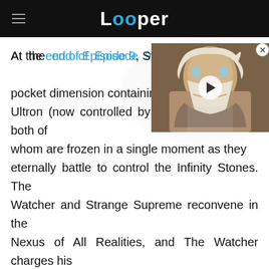Looper
[Figure (screenshot): Video thumbnail showing an elderly man with long white beard and hair, with a play button overlay]
At the end of Episode 9, Strange Supreme traps a pocket dimension containing Ultron (now controlled by an AI Arnim Zola), both of whom are frozen in a single moment as they eternally battle to control the Infinity Stones. The Watcher and Strange Supreme reconvene in the Nexus of All Realities, and The Watcher charges his repentant ally with guarding the dimension to ensure the villains don't escape.